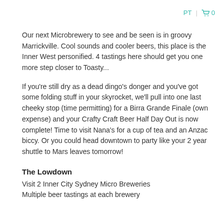PT | 🛒 0
Our next Microbrewery to see and be seen is in groovy Marrickville. Cool sounds and cooler beers, this place is the Inner West personified. 4 tastings here should get you one more step closer to Toasty...
If you're still dry as a dead dingo's donger and you've got some folding stuff in your skyrocket, we'll pull into one last cheeky stop (time permitting) for a Birra Grande Finale (own expense) and your Crafty Craft Beer Half Day Out is now complete! Time to visit Nana's for a cup of tea and an Anzac biccy. Or you could head downtown to party like your 2 year shuttle to Mars leaves tomorrow!
The Lowdown
Visit 2 Inner City Sydney Micro Breweries
Multiple beer tastings at each brewery